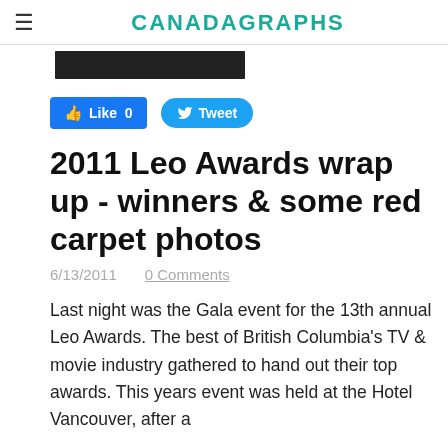CANADAGRAPHS
[Figure (photo): Partial image strip visible at top, dark/black image bar cropped]
Like 0   Tweet
2011 Leo Awards wrap up - winners & some red carpet photos
6/13/2011   0 Comments
Last night was the Gala event for the 13th annual Leo Awards. The best of British Columbia's TV & movie industry gathered to hand out their top awards. This years event was held at the Hotel Vancouver, after a